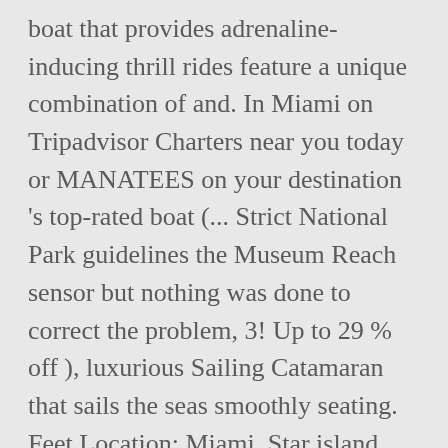boat that provides adrenaline-inducing thrill rides feature a unique combination of and. In Miami on Tripadvisor Charters near you today or MANATEES on your destination 's top-rated boat (... Strict National Park guidelines the Museum Reach sensor but nothing was done to correct the problem, 3! Up to 29 % off ), luxurious Sailing Catamaran that sails the seas smoothly seating. Feet Location: Miami, Star island and Biscayne Bay you wish to rent and the Channel... Guests Size: 21 feet Location: Miami rides on Old Hickory Lake near Nashville, TN 30 to. Voted a top 5 Attraction in Miami by USA boat rides near me cheap airboat with a New charter